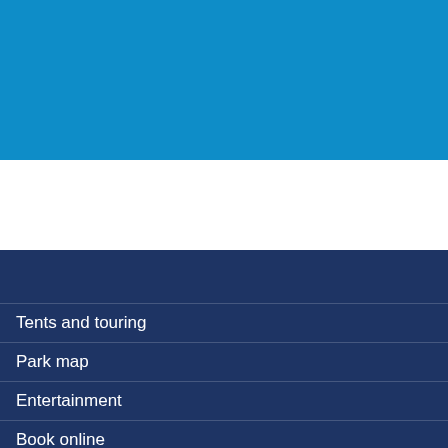[Figure (other): Solid bright blue rectangle banner at the top of the page]
[Figure (other): White horizontal band in the middle of the page]
[Figure (other): Dark navy blue background panel at the bottom of the page]
Tents and touring
Park map
Entertainment
Book online